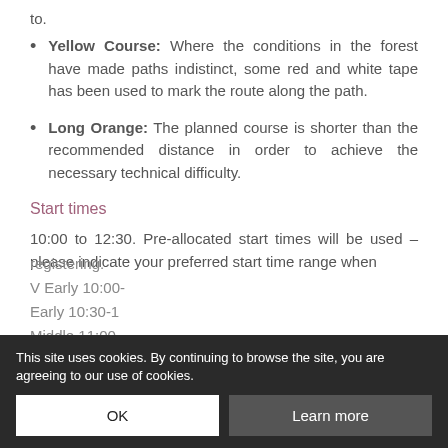to.
Yellow Course: Where the conditions in the forest have made paths indistinct, some red and white tape has been used to mark the route along the path.
Long Orange: The planned course is shorter than the recommended distance in order to achieve the necessary technical difficulty.
Start times
10:00 to 12:30. Pre-allocated start times will be used – please indicate your preferred start time range when registering.
V Early 10:00-
Early 10:30-1
Middle 11:00-
This site uses cookies. By continuing to browse the site, you are agreeing to our use of cookies.